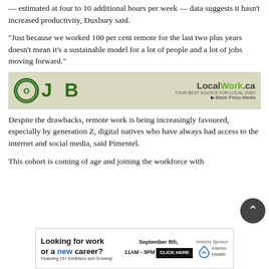— estimated at four to 10 additional hours per week — data suggests it hasn't increased productivity, Duxbury said.
“Just because we worked 100 per cent remote for the last two plus years doesn’t mean it’s a sustainable model for a lot of people and a lot of jobs moving forward.”
[Figure (other): JOB advertisement banner for LocalWork.ca by Black Press Media. Tan/olive background with green bold 'JOB' text and a circular logo, and LocalWork.ca logo on the right.]
Despite the drawbacks, remote work is being increasingly favoured, especially by generation Z, digital natives who have always had access to the internet and social media, said Pimentel.
This cohort is coming of age and joining the workforce with
[Figure (other): Advertisement banner: 'Looking for work or a new career? Featuring 15+ Exhibitors and Growing!' September 8th, 11AM-3PM. Industry Sponsor: Interior Health. Click Here button.]